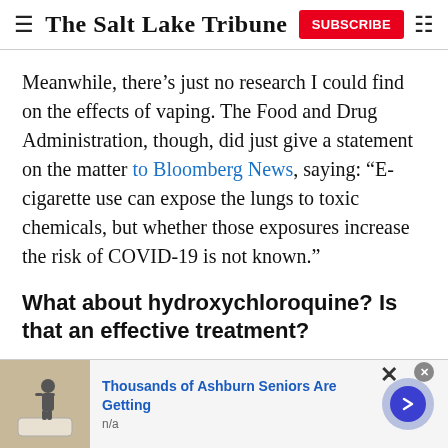The Salt Lake Tribune
Meanwhile, there’s just no research I could find on the effects of vaping. The Food and Drug Administration, though, did just give a statement on the matter to Bloomberg News, saying: “E-cigarette use can expose the lungs to toxic chemicals, but whether those exposures increase the risk of COVID-19 is not known.”
What about hydroxychloroquine? Is that an effective treatment?
[Figure (other): Advertisement banner showing a walk-in bathtub/shower with text: Thousands of Ashburn Seniors Are Getting, n/a]